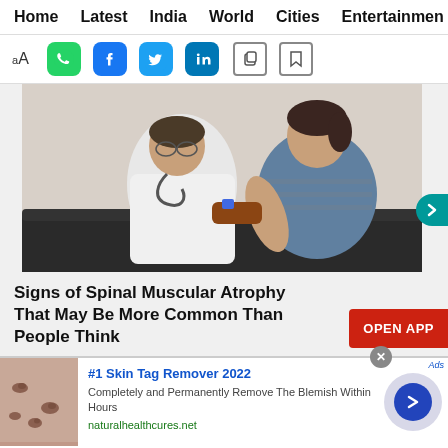Home  Latest  India  World  Cities  Entertainment
[Figure (screenshot): Toolbar with font size icon (aA), WhatsApp share button (green), Facebook share button (blue), Twitter share button (blue), LinkedIn share button (blue), copy button (outline), and bookmark button (outline)]
[Figure (photo): Doctor in white coat with stethoscope examining a young woman's arm using a medical device, both seated on a dark couch]
Signs of Spinal Muscular Atrophy That May Be More Common Than People Think
[Figure (screenshot): OPEN APP red button]
[Figure (photo): Close-up of skin tags on skin — advertisement image for Skin Tag Remover]
#1 Skin Tag Remover 2022
Completely and Permanently Remove The Blemish Within Hours
naturalhealthcures.net